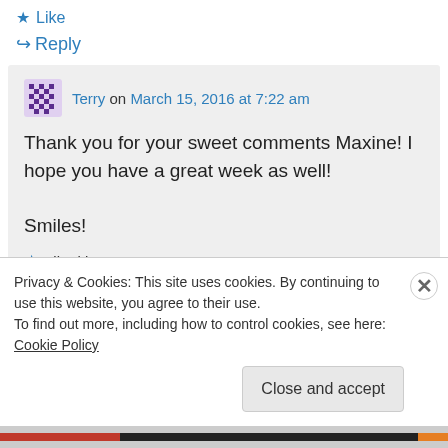★ Like
↪ Reply
Terry on March 15, 2016 at 7:22 am
Thank you for your sweet comments Maxine! I hope you have a great week as well!
Smiles!
★ Liked by 1 person
Privacy & Cookies: This site uses cookies. By continuing to use this website, you agree to their use.
To find out more, including how to control cookies, see here: Cookie Policy
Close and accept